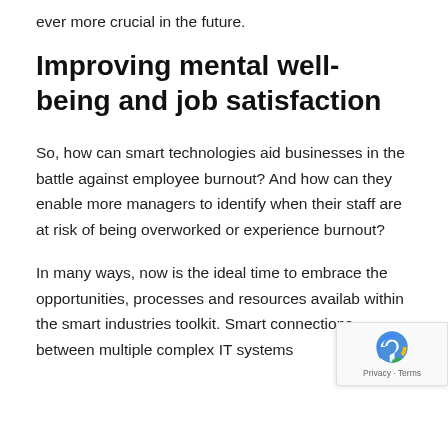ever more crucial in the future.
Improving mental well-being and job satisfaction
So, how can smart technologies aid businesses in the battle against employee burnout? And how can they enable more managers to identify when their staff are at risk of being overworked or experience burnout?
In many ways, now is the ideal time to embrace the opportunities, processes and resources availab within the smart industries toolkit. Smart connections between multiple complex IT systems